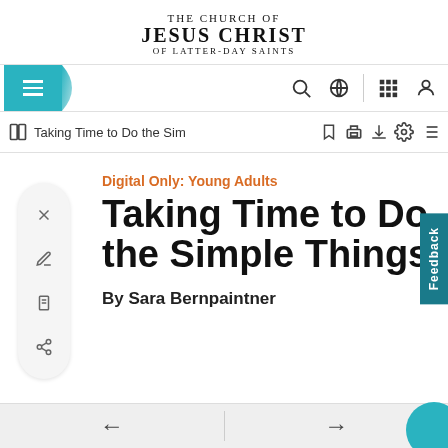THE CHURCH OF JESUS CHRIST OF LATTER-DAY SAINTS
Taking Time to Do the Simple Things
Digital Only: Young Adults
By Sara Bernpaintner